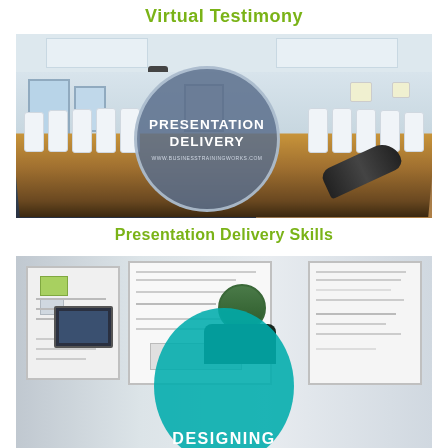Virtual Testimony
[Figure (photo): Conference room photo with long table and white chairs, with circular overlay badge reading PRESENTATION DELIVERY www.businesstrainingworks.com]
Presentation Delivery Skills
[Figure (photo): Office/design room with whiteboards covered in notes and a person standing, with teal circular overlay showing DESIGNING text at bottom]